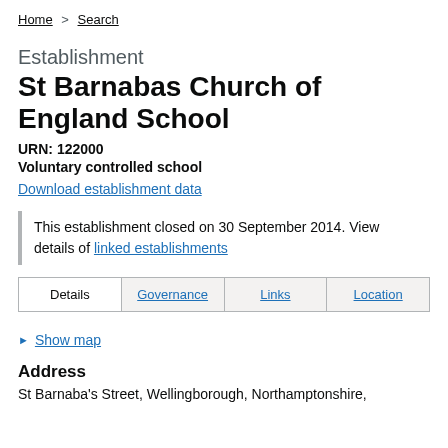Home > Search
Establishment
St Barnabas Church of England School
URN: 122000
Voluntary controlled school
Download establishment data
This establishment closed on 30 September 2014. View details of linked establishments
Details | Governance | Links | Location
Show map
Address
St Barnaba's Street, Wellingborough, Northamptonshire,